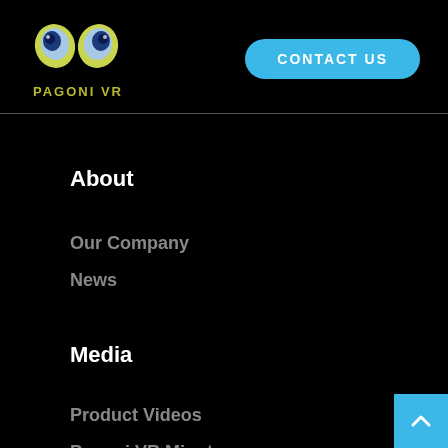[Figure (logo): Pagoni VR logo with two stylized peacock-eye shapes and text PAGONI VR below]
CONTACT US
About
Our Company
News
Media
Product Videos
Pagoni VR Minutes
Pagoni VR Blog